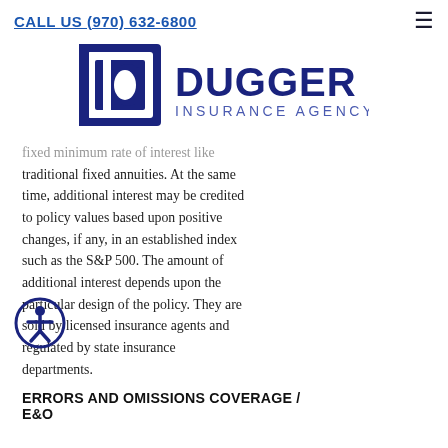CALL US (970) 632-6800
[Figure (logo): Dugger Insurance Agency logo with a dark blue D icon and DUGGER INSURANCE AGENCY text]
fixed minimum rate of interest like traditional fixed annuities. At the same time, additional interest may be credited to policy values based upon positive changes, if any, in an established index such as the S&P 500. The amount of additional interest depends upon the particular design of the policy. They are sold by licensed insurance agents and regulated by state insurance departments.
ERRORS AND OMISSIONS COVERAGE / E&O